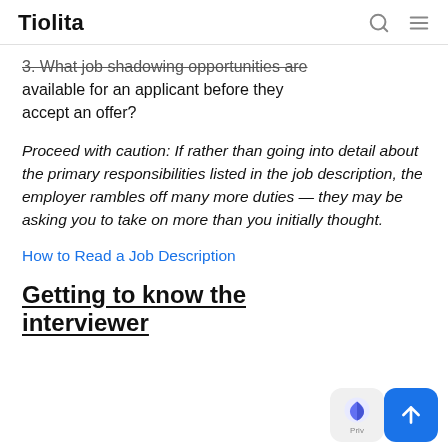Tiolita
3. What job shadowing opportunities are available for an applicant before they accept an offer?
Proceed with caution: If rather than going into detail about the primary responsibilities listed in the job description, the employer rambles off many more duties — they may be asking you to take on more than you initially thought.
How to Read a Job Description
Getting to know the interviewer